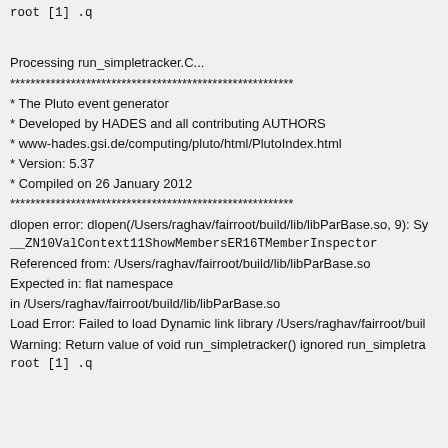root [1] .q
Processing run_simpletracker.C...
********************************************************
* The Pluto event generator
* Developed by HADES and all contributing AUTHORS
* www-hades.gsi.de/computing/pluto/html/PlutoIndex.html
* Version: 5.37
* Compiled on 26 January 2012
********************************************************
dlopen error: dlopen(/Users/raghav/fairroot/build/lib/libParBase.so, 9): Sy
__ZN10ValContext11ShowMembersER16TMemberInspector
Referenced from: /Users/raghav/fairroot/build/lib/libParBase.so
Expected in: flat namespace
in /Users/raghav/fairroot/build/lib/libParBase.so
Load Error: Failed to load Dynamic link library /Users/raghav/fairroot/buil
Warning: Return value of void run_simpletracker() ignored run_simpletra
root [1] .q